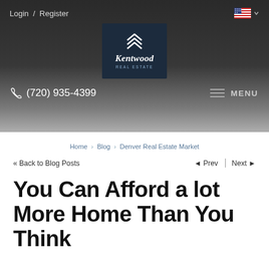Login / Register
[Figure (logo): Kentwood Real Estate logo — dark navy square with chevron icon above text 'Kentwood Real Estate']
(720) 935-4399
MENU
Home > Blog > Denver Real Estate Market
<< Back to Blog Posts   ◄ Prev | Next ►
You Can Afford a lot More Home Than You Think